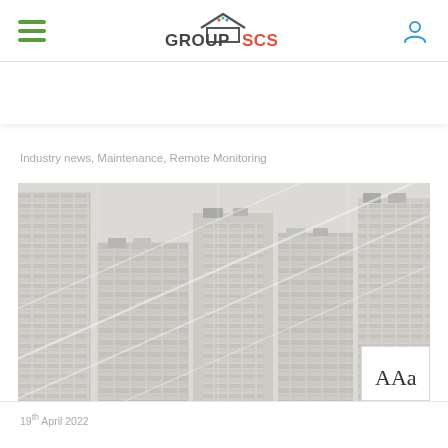GROUP SCS — navigation header with hamburger menu and user icon
Industry news, Maintenance, Remote Monitoring
[Figure (photo): Aerial or close-up view through wire fence of urban high-rise apartment buildings with air conditioning units on rooftops, grey/beige tones]
19th April 2022